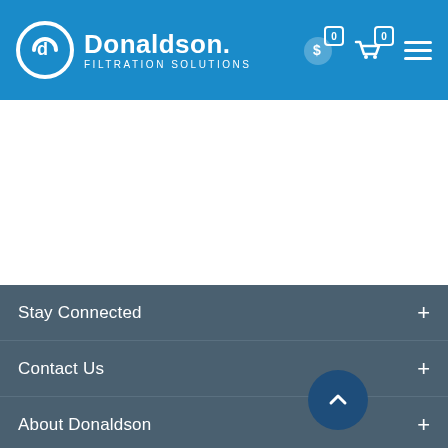[Figure (logo): Donaldson Filtration Solutions logo with circular icon on blue header bar]
Stay Connected
Contact Us
About Donaldson
Global Headquarters